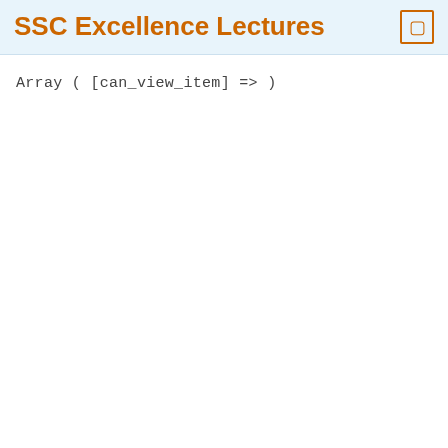SSC Excellence Lectures
Array ( [can_view_item] => )